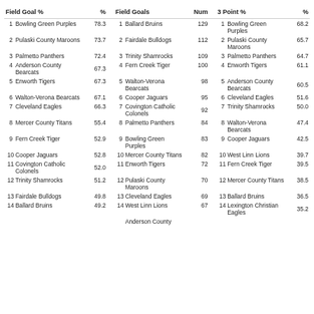| Field Goal % | % | Field Goals | Num | 3 Point % | % |
| --- | --- | --- | --- | --- | --- |
| 1 Bowling Green Purples | 78.3 | 1 Ballard Bruins | 129 | 1 Bowling Green Purples | 68.2 |
| 2 Pulaski County Maroons | 73.7 | 2 Fairdale Bulldogs | 112 | 2 Pulaski County Maroons | 65.7 |
| 3 Palmetto Panthers | 72.4 | 3 Trinity Shamrocks | 109 | 3 Palmetto Panthers | 64.7 |
| 4 Anderson County Bearcats | 67.3 | 4 Fern Creek Tiger | 100 | 4 Enworth Tigers | 61.1 |
| 5 Enworth Tigers | 67.3 | 5 Walton-Verona Bearcats | 98 | 5 Anderson County Bearcats | 60.5 |
| 6 Walton-Verona Bearcats | 67.1 | 6 Cooper Jaguars | 95 | 6 Cleveland Eagles | 51.6 |
| 7 Cleveland Eagles | 66.3 | 7 Covington Catholic Colonels | 92 | 7 Trinity Shamrocks | 50.0 |
| 8 Mercer County Titans | 55.4 | 8 Palmetto Panthers | 84 | 8 Walton-Verona Bearcats | 47.4 |
| 9 Fern Creek Tiger | 52.9 | 9 Bowling Green Purples | 83 | 9 Cooper Jaguars | 42.5 |
| 10 Cooper Jaguars | 52.8 | 10 Mercer County Titans | 82 | 10 West Linn Lions | 39.7 |
| 11 Covington Catholic Colonels | 52.0 | 11 Enworth Tigers | 72 | 11 Fern Creek Tiger | 39.5 |
| 12 Trinity Shamrocks | 51.2 | 12 Pulaski County Maroons | 70 | 12 Mercer County Titans | 38.5 |
| 13 Fairdale Bulldogs | 49.8 | 13 Cleveland Eagles | 69 | 13 Ballard Bruins | 36.5 |
| 14 Ballard Bruins | 49.2 | 14 West Linn Lions | 67 | 14 Lexington Christian Eagles | 35.2 |
| 15 ... |  | 15 Anderson County ... |  | 15 ... |  |